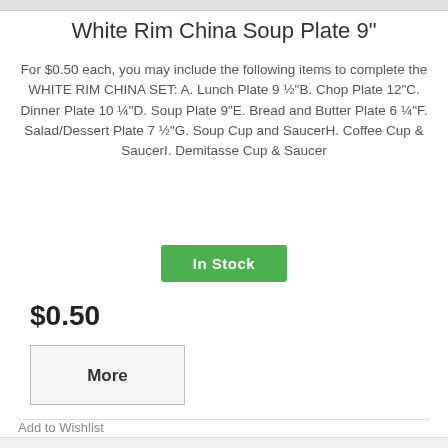White Rim China Soup Plate 9"
For $0.50 each, you may include the following items to complete the WHITE RIM CHINA SET: A. Lunch Plate 9 ½"B. Chop Plate 12"C. Dinner Plate 10 ¼"D. Soup Plate 9"E. Bread and Butter Plate 6 ¼"F. Salad/Dessert Plate 7 ½"G. Soup Cup and SaucerH. Coffee Cup & SaucerI. Demitasse Cup & Saucer
In Stock
$0.50
More
Add to Wishlist
Add to Compare